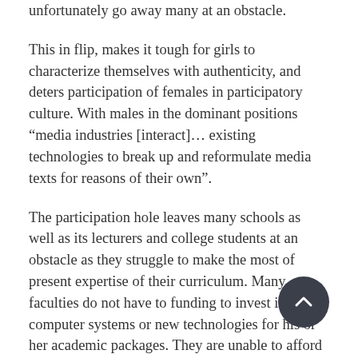unfortunately go away many at an obstacle.
This in flip, makes it tough for girls to characterize themselves with authenticity, and deters participation of females in participatory culture. With males in the dominant positions “media industries [interact]… existing technologies to break up and reformulate media texts for reasons of their own”.
The participation hole leaves many schools as well as its lecturers and college students at an obstacle as they struggle to make the most of present expertise of their curriculum. Many faculties do not have to funding to invest in computer systems or new technologies for his or her academic packages. They are unable to afford computers, cameras, and interactive learning instruments, which prevents students from accessing the tools that different, wealthier colleges have. Passing out the expertise free charge isn’t enough to ensure youth and adults discover ways to use the instruments successfully.